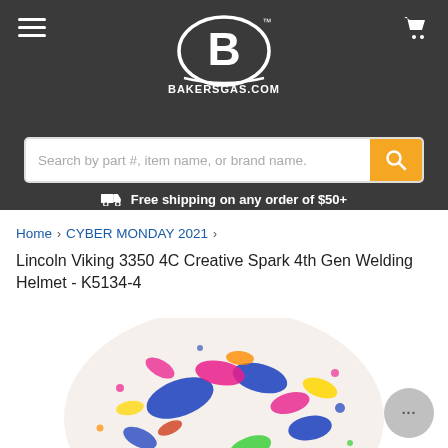BAKERSGAS.COM
Search by part #, item name, or brand name.
Free shipping on any order of $50+
Home > CYBER MONDAY 2021 > Lincoln Viking 3350 4C Creative Spark 4th Gen Welding Helmet - K5134-4
[Figure (photo): Lincoln Viking 3350 4C Creative Spark welding helmet with colorful paint splatter design on white background]